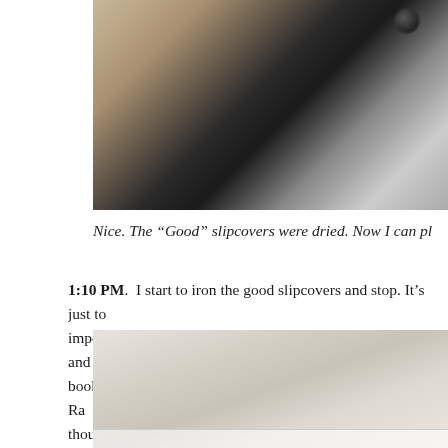[Figure (photo): Top portion of a photo showing what appears to be a dark electronic device or iron against a textured background, cropped at top and right edges]
Nice. The “Good” slipcovers were dried. Now I can pl
1:10 PM.  I start to iron the good slipcovers and stop. It’s just to important part—the skirt.  Put iron and ironing board away and bookshelf. OMG! It’s my backup of John Mayer’s “Born and Ra thought it was lost.   (Don’t judge. I have backups for all my Joh CD’s. You never know when your car will be broken into.)
[Figure (photo): Bottom portion of a photo showing a light-colored surface, possibly a shelf or table, with soft neutral tones]